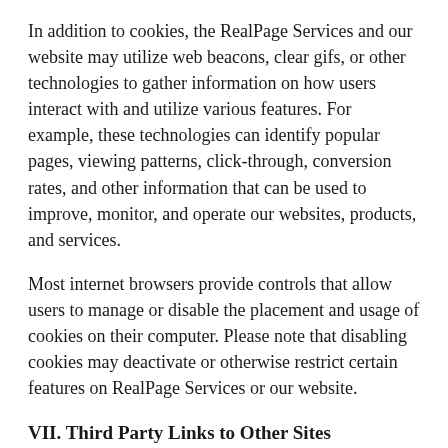In addition to cookies, the RealPage Services and our website may utilize web beacons, clear gifs, or other technologies to gather information on how users interact with and utilize various features. For example, these technologies can identify popular pages, viewing patterns, click-through, conversion rates, and other information that can be used to improve, monitor, and operate our websites, products, and services.
Most internet browsers provide controls that allow users to manage or disable the placement and usage of cookies on their computer. Please note that disabling cookies may deactivate or otherwise restrict certain features on RealPage Services or our website.
VII. Third Party Links to Other Sites
RealPage Services may include links to third party service